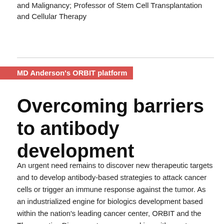and Malignancy; Professor of Stem Cell Transplantation and Cellular Therapy
MD Anderson's ORBIT platform
Overcoming barriers to antibody development
An urgent need remains to discover new therapeutic targets and to develop antibody-based strategies to attack cancer cells or trigger an immune response against the tumor. As an industrialized engine for biologics development based within the nation's leading cancer center, ORBIT and the Therapeutics Discovery team are working with greater agility to avoid the